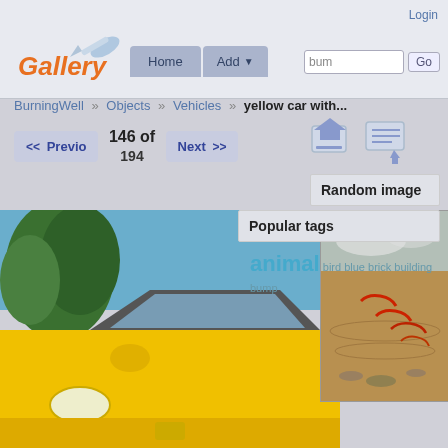Login
[Figure (logo): Gallery logo with orange text and paint brush icon]
Home | Add | bum | Go
BurningWell » Objects » Vehicles » yellow car with...
146 of 194 | Previous | Next
Random image
[Figure (photo): Yellow car (taxi) with trees in background - main image]
[Figure (photo): Overlay thumbnail showing water reflection with red koi fish]
Popular tags
animal bird blue brick building bump